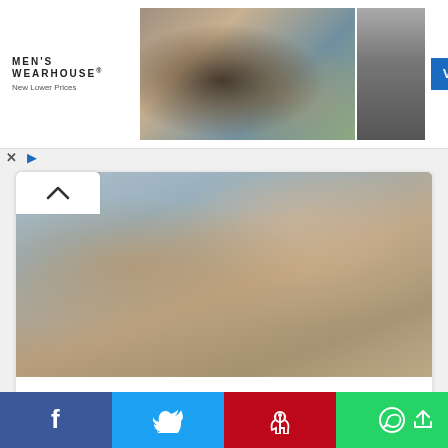[Figure (photo): Men's Wearhouse advertisement banner showing a couple in formal wear and a man in a suit with VIEW button]
[Figure (photo): A young girl with arms crossed looking stubborn while an adult is blurred in the background]
Parenting
How to Discipline Your Stubborn Child
[Figure (photo): Partial image of a second article card with yellow element]
[Figure (infographic): Social sharing bar with Facebook, Twitter, Pinterest, WhatsApp buttons and share/up arrow]